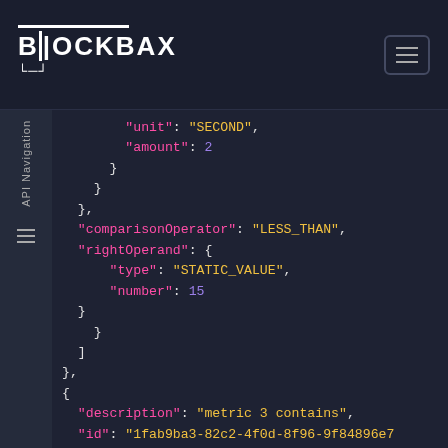BLOCKBAX
API Navigation
JSON code block showing API response with fields: unit: SECOND, amount: 2, comparisonOperator: LESS_THAN, rightOperand: { type: STATIC_VALUE, number: 15 }, description: metric 3 contains, id: 1fab9ba3-82c2-4f0d-8f96-9f84896e77de, inputConditions: [